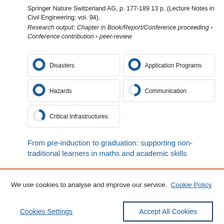Springer Nature Switzerland AG, p. 177-189 13 p. (Lecture Notes in Civil Engineering; vol. 94).
Research output: Chapter in Book/Report/Conference proceeding › Conference contribution › peer-review
Disasters
Application Programs
Hazards
Communication
Critical Infrastructures
From pre-induction to graduation: supporting non-traditional learners in maths and academic skills
We use cookies to analyse and improve our service. Cookie Policy
Cookies Settings
Accept All Cookies